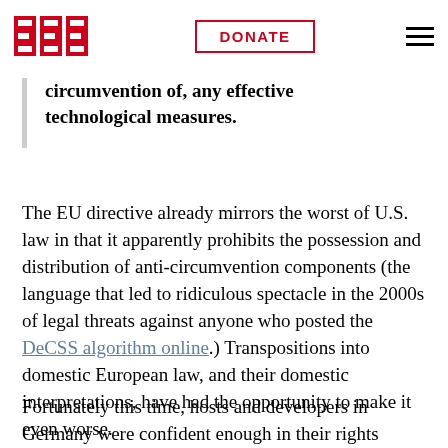EFF | DONATE
circumvention of, any effective technological measures.
The EU directive already mirrors the worst of U.S. law in that it apparently prohibits the possession and distribution of anti-circumvention components (the language that led to ridiculous spectacle in the 2000s of legal threats against anyone who posted the DeCSS algorithm online.) Transpositions into domestic European law, and their domestic interpretations, have had the opportunity to make it even worse.
Fortunately this time, hosts and developers in Germany were confident enough in their rights under German law to reject the RIAA's take-down